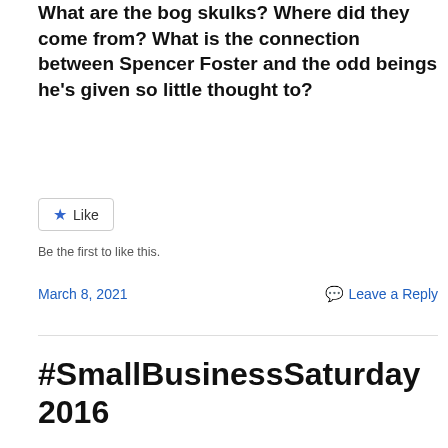What are the bog skulks? Where did they come from? What is the connection between Spencer Foster and the odd beings he's given so little thought to?
Like
Be the first to like this.
March 8, 2021
Leave a Reply
#SmallBusinessSaturday 2016
[Figure (logo): Blue circular badge with white text reading SMALL BUSINESS SATURDAY]